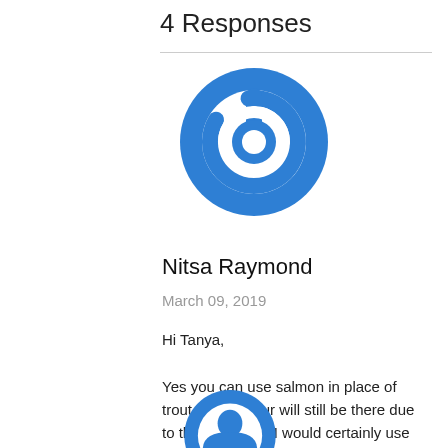4 Responses
[Figure (logo): Blue circular power/refresh icon avatar for user Nitsa Raymond]
Nitsa Raymond
March 09, 2019
Hi Tanya,

Yes you can use salmon in place of trout. The flavour will still be there due to the paste and I would certainly use salmon if I could not get hold of any trout.
Enjoy, Nitsa.
[Figure (logo): Blue circular avatar icon (partially visible at bottom)]